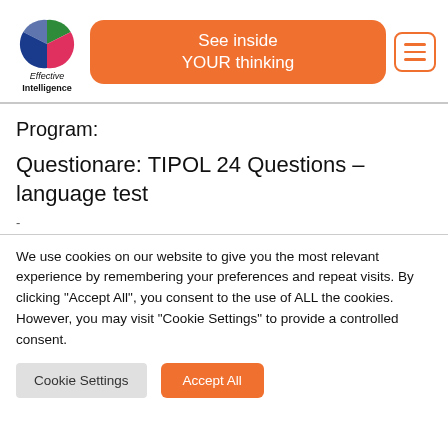[Figure (logo): Effective Intelligence logo: pie-chart-like circle divided into green, pink/red, and blue thirds, with text 'Effective Intelligence' below]
See inside YOUR thinking
Program:
Questionare: TIPOL 24 Questions – language test
We use cookies on our website to give you the most relevant experience by remembering your preferences and repeat visits. By clicking "Accept All", you consent to the use of ALL the cookies. However, you may visit "Cookie Settings" to provide a controlled consent.
Cookie Settings
Accept All